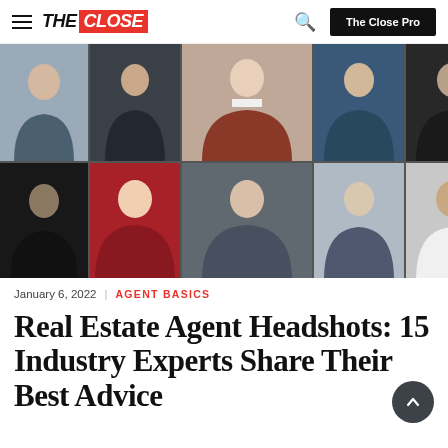THE CLOSE | The Close Pro
[Figure (photo): Collage of 10 professional headshot photos of real estate agents arranged in a 5x2 grid. Top row: person in denim jacket, person sitting on stairs, woman in burgundy top with white shirt, person with crossed arms in blue, person in black jacket. Bottom row: man in black in shadow, woman smiling in red turtleneck, man in light blue button-up shirt, man in blazer with glasses, man in white V-neck.]
January 6, 2022  |  AGENT BASICS
Real Estate Agent Headshots: 15 Industry Experts Share Their Best Advice